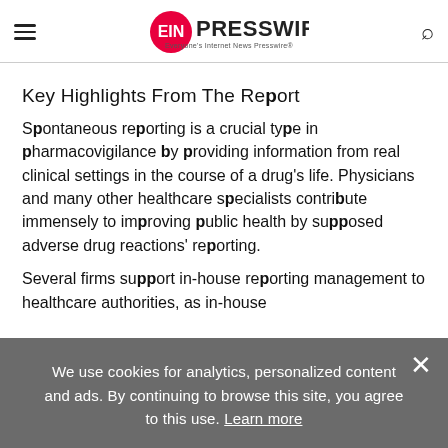EINPresswire — Everyone's Internet News Presswire
Key Highlights From The Report
Spontaneous reporting is a crucial type in pharmacovigilance by providing information from real clinical settings in the course of a drug's life. Physicians and many other healthcare specialists contribute immensely to improving public health by supposed adverse drug reactions' reporting.
Several firms support in-house reporting management to healthcare authorities, as in-house
We use cookies for analytics, personalized content and ads. By continuing to browse this site, you agree to this use. Learn more